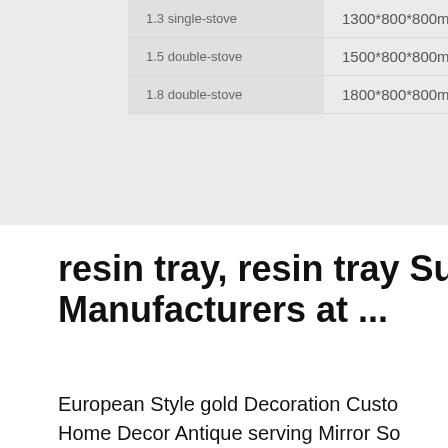| Model | Dimensions | Gas Consumption |
| --- | --- | --- |
| 1.3 single-stove | 1300*800*800mm | 2m³/h/stove (gas) |
| 1.5 double-stove | 1500*800*800mm |  |
| 1.8 double-stove | 1800*800*800mm |  |
[Figure (photo): 24/7 Online support panel with female agent wearing headset and blue shirt. Dark teal header reading '24/7 Online'. Below is a 'Click here for free chat!' call to action and an orange QUOTATION button.]
resin tray, resin tray Suppliers Manufacturers at ...
European Style gold Decoration Custo Home Decor Antique serving Mirror So Jewelry Resin Fruit Tray For Wedding $5.00-$7.50 Piece 10 Pieces (Min. Or
[Figure (other): Orange 'Get Price' button]
[Figure (logo): Orange TOP logo with dots arranged in triangle above the text TOP]